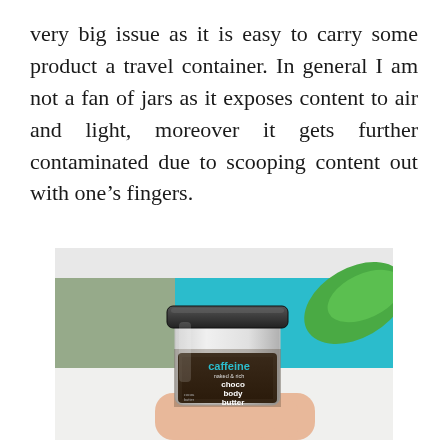very big issue as it is easy to carry some product a travel container. In general I am not a fan of jars as it exposes content to air and light, moreover it gets further contaminated due to scooping content out with one's fingers.
[Figure (photo): A small glass jar of 'caffeine naked & rich choco body butter' with a black lid, held in a hand against a teal/blue background with a green plant leaf visible.]